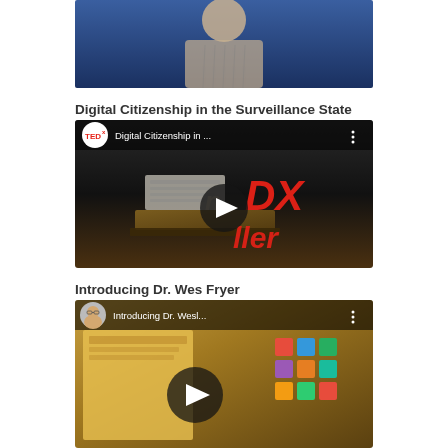[Figure (screenshot): Top partial video thumbnail showing a person on stage with a blue background]
Digital Citizenship in the Surveillance State
[Figure (screenshot): YouTube video thumbnail for 'Digital Citizenship in ...' with TEDx logo, showing a dark stage with red 'DX' text visible and a presenter at a podium. Play button centered.]
Introducing Dr. Wes Fryer
[Figure (screenshot): YouTube video thumbnail for 'Introducing Dr. Wesl...' showing a man with glasses as channel avatar, colorful icon grid on right side, and a play button centered.]